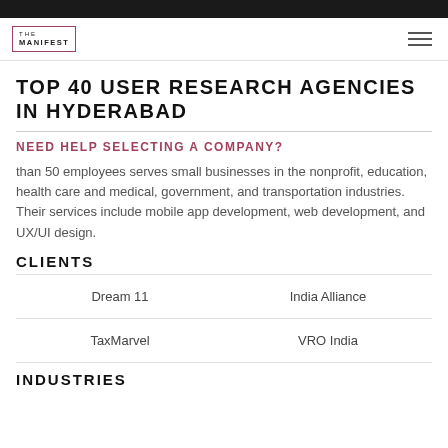THE MANIFEST
TOP 40 USER RESEARCH AGENCIES IN HYDERABAD
NEED HELP SELECTING A COMPANY?
than 50 employees serves small businesses in the nonprofit, education, health care and medical, government, and transportation industries. Their services include mobile app development, web development, and UX/UI design.
CLIENTS
| Dream 11 | India Alliance |
| TaxMarvel | VRO India |
INDUSTRIES